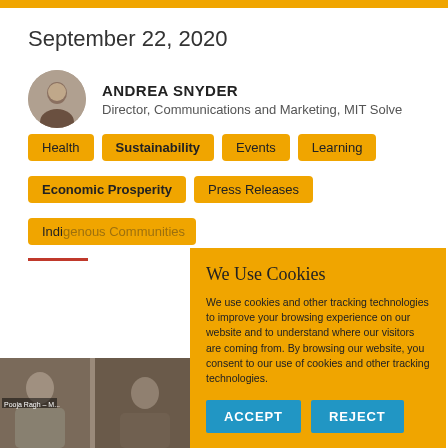September 22, 2020
ANDREA SNYDER
Director, Communications and Marketing, MIT Solve
Health
Sustainability
Events
Learning
Economic Prosperity
Press Releases
Indigenous Communities (partial)
[Figure (screenshot): Bottom portion of webpage with a video thumbnail showing people]
[Figure (infographic): Cookie consent popup overlay with yellow background, text 'We Use Cookies', body text about cookies and tracking technologies, and two blue buttons labeled ACCEPT and REJECT]